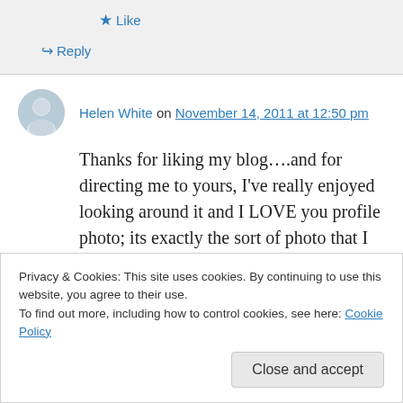★ Like
↪ Reply
Helen White on November 14, 2011 at 12:50 pm
Thanks for liking my blog….and for directing me to yours, I've really enjoyed looking around it and I LOVE you profile photo; its exactly the sort of photo that I enjoy painting from, or even turning into embroidery or fabric design, lovely
Privacy & Cookies: This site uses cookies. By continuing to use this website, you agree to their use. To find out more, including how to control cookies, see here: Cookie Policy
Close and accept